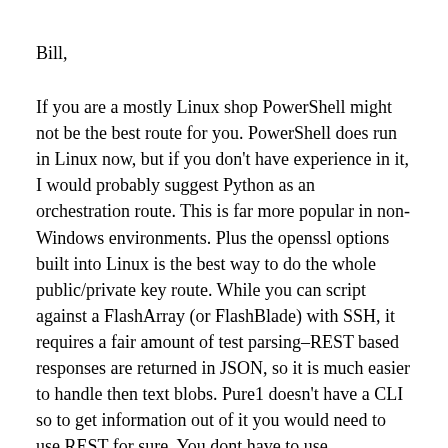Bill,
If you are a mostly Linux shop PowerShell might not be the best route for you. PowerShell does run in Linux now, but if you don't have experience in it, I would probably suggest Python as an orchestration route. This is far more popular in non-Windows environments. Plus the openssl options built into Linux is the best way to do the whole public/private key route. While you can script against a FlashArray (or FlashBlade) with SSH, it requires a fair amount of test parsing–REST based responses are returned in JSON, so it is much easier to handle then text blobs. Pure1 doesn't have a CLI so to get information out of it you would need to use REST for sure. You dont have to use PowerShell though, you can use Python or many other tools (or even curl if you so choose). The short answer though is if you